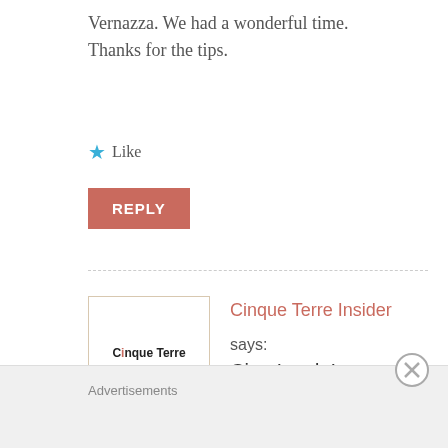Vernazza. We had a wonderful time. Thanks for the tips.
★ Like
REPLY
Cinque Terre Insider says: Ciao Lynda!
September 13, 2017 at 8:53 pm
It sounds amazing, like four perfect days!
Advertisements